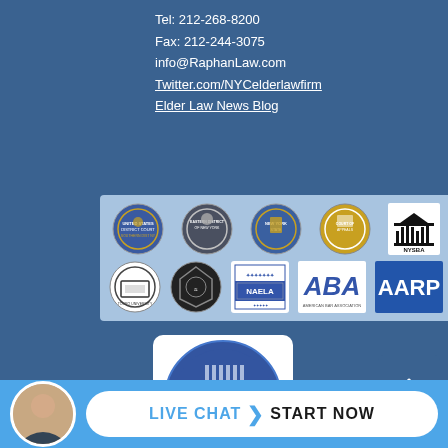Tel: 212-268-8200
Fax: 212-244-3075
info@RaphanLaw.com
Twitter.com/NYCelderlawfirm
Elder Law News Blog
[Figure (logo): Row of legal organization logos/seals including court seals, NYSBA, Touro University, ABA, NAELA, and AARP on a light blue background]
[Figure (logo): Lawyers of Distinction 2022 badge with stars]
[Figure (logo): SSL Secure badge]
LIVE CHAT START NOW